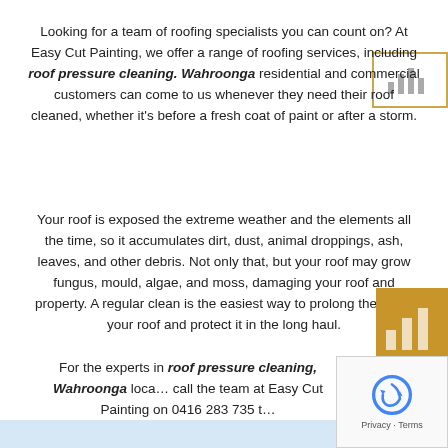Looking for a team of roofing specialists you can count on? At Easy Cut Painting, we offer a range of roofing services, including roof pressure cleaning. Wahroonga residential and commercial customers can come to us whenever they need their roof cleaned, whether it's before a fresh coat of paint or after a storm.
Your roof is exposed the extreme weather and the elements all the time, so it accumulates dirt, dust, animal droppings, ash, leaves, and other debris. Not only that, but your roof may grow fungus, mould, algae, and moss, damaging your roof and property. A regular clean is the easiest way to prolong the life of your roof and protect it in the long haul.
For the experts in roof pressure cleaning, Wahroonga locals call the team at Easy Cut Painting on 0416 283 735 t…